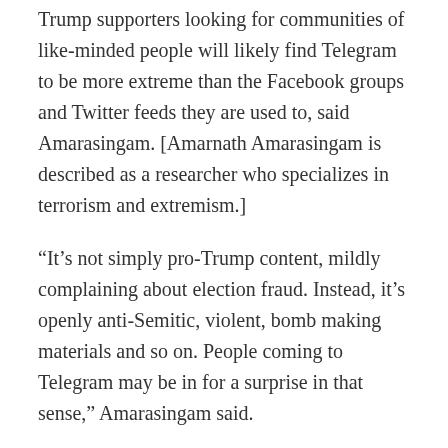Trump supporters looking for communities of like-minded people will likely find Telegram to be more extreme than the Facebook groups and Twitter feeds they are used to, said Amarasingam. [Amarnath Amarasingam is described as a researcher who specializes in terrorism and extremism.]
“It’s not simply pro-Trump content, mildly complaining about election fraud. Instead, it’s openly anti-Semitic, violent, bomb making materials and so on. People coming to Telegram may be in for a surprise in that sense,” Amarasingam said.
Entirely predictable, really, at...